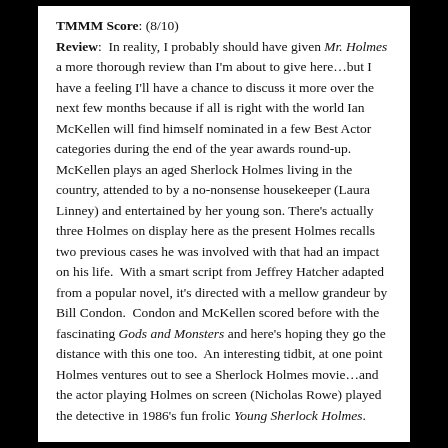TMMM Score: (8/10)
Review: In reality, I probably should have given Mr. Holmes a more thorough review than I'm about to give here…but I have a feeling I'll have a chance to discuss it more over the next few months because if all is right with the world Ian McKellen will find himself nominated in a few Best Actor categories during the end of the year awards round-up. McKellen plays an aged Sherlock Holmes living in the country, attended to by a no-nonsense housekeeper (Laura Linney) and entertained by her young son. There's actually three Holmes on display here as the present Holmes recalls two previous cases he was involved with that had an impact on his life. With a smart script from Jeffrey Hatcher adapted from a popular novel, it's directed with a mellow grandeur by Bill Condon. Condon and McKellen scored before with the fascinating Gods and Monsters and here's hoping they go the distance with this one too. An interesting tidbit, at one point Holmes ventures out to see a Sherlock Holmes movie…and the actor playing Holmes on screen (Nicholas Rowe) played the detective in 1986's fun frolic Young Sherlock Holmes.